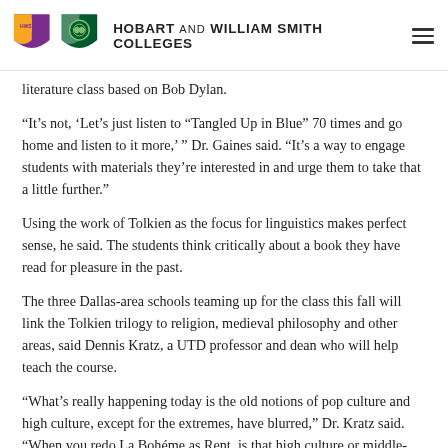HOBART AND WILLIAM SMITH COLLEGES
literature class based on Bob Dylan.
“It’s not, ‘Let’s just listen to “Tangled Up in Blue” 70 times and go home and listen to it more,’ ” Dr. Gaines said. “It’s a way to engage students with materials they’re interested in and urge them to take that a little further.”
Using the work of Tolkien as the focus for linguistics makes perfect sense, he said. The students think critically about a book they have read for pleasure in the past.
The three Dallas-area schools teaming up for the class this fall will link the Tolkien trilogy to religion, medieval philosophy and other areas, said Dennis Kratz, a UTD professor and dean who will help teach the course.
“What’s really happening today is the old notions of pop culture and high culture, except for the extremes, have blurred,” Dr. Kratz said. “When you redo La Bohéme as Rent, is that high culture or middle-brow culture?”
The Lord of the Rings is a bit of both, he said.